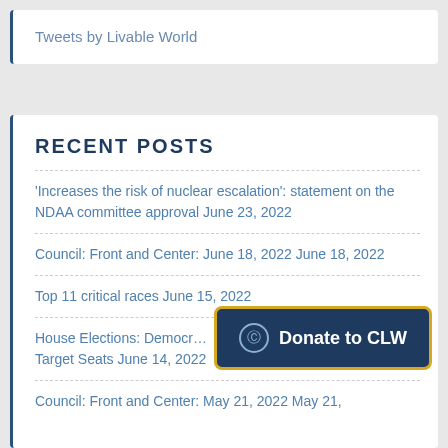Tweets by Livable World
RECENT POSTS
'Increases the risk of nuclear escalation': statement on the NDAA committee approval June 23, 2022
Council: Front and Center: June 18, 2022 June 18, 2022
Top 11 critical races June 15, 2022
House Elections: Democr… Target Seats June 14, 2022
Council: Front and Center: May 21, 2022 May 21,
[Figure (other): Donate to CLW button with dollar sign icon, dark navy background with yellow/gold border]